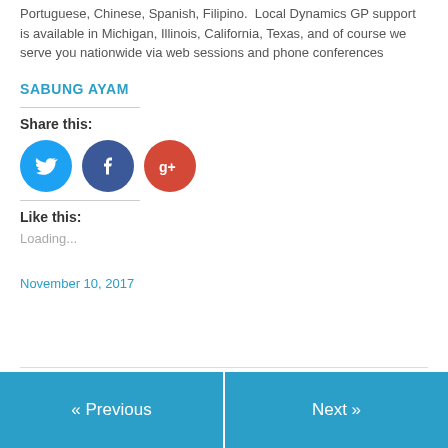Portuguese, Chinese, Spanish, Filipino.  Local Dynamics GP support is available in Michigan, Illinois, California, Texas, and of course we serve you nationwide via web sessions and phone conferences
SABUNG AYAM
Share this:
[Figure (illustration): Three social media icon buttons: Twitter (blue circle with bird icon), Facebook (dark blue circle with f icon), Google+ (red circle with g+ icon)]
Like this:
Loading...
November 10, 2017
« Previous
Next »